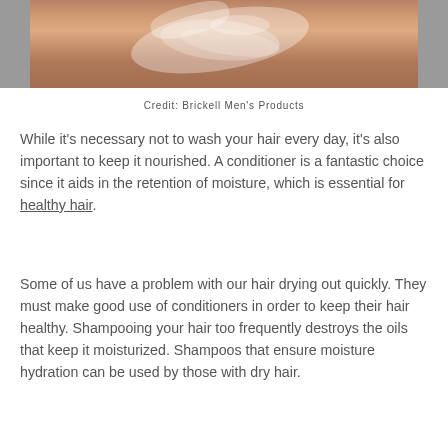[Figure (photo): Overhead view of a person washing their hair/back in a shower, with soapy lather visible; tiled shower background on the sides.]
Credit: Brickell Men's Products
While it's necessary not to wash your hair every day, it's also important to keep it nourished. A conditioner is a fantastic choice since it aids in the retention of moisture, which is essential for healthy hair.
Some of us have a problem with our hair drying out quickly. They must make good use of conditioners in order to keep their hair healthy. Shampooing your hair too frequently destroys the oils that keep it moisturized. Shampoos that ensure moisture hydration can be used by those with dry hair.